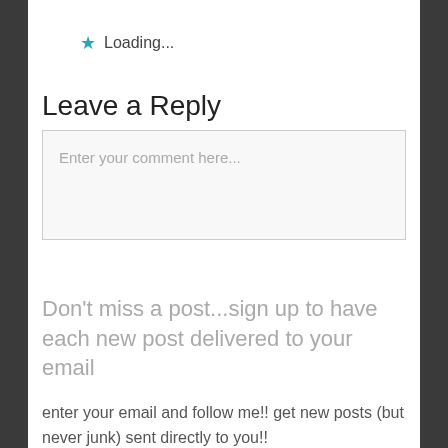★ Loading...
Leave a Reply
Enter your comment here...
Don't miss a post...sign up to have each new post delivered to your email
enter your email and follow me!! get new posts (but never junk) sent directly to you!!
Email Address